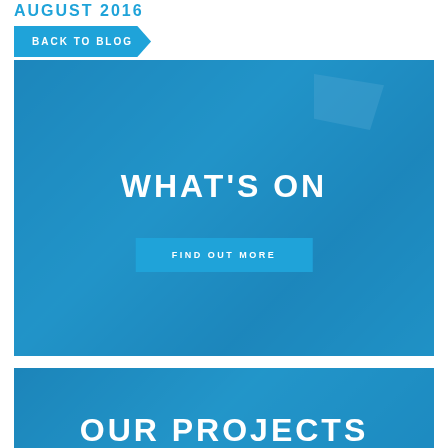AUGUST 2016
BACK TO BLOG
[Figure (photo): Blue-tinted photo of a person speaking into a microphone at an event, overlaid with blue tint. Text overlay: WHAT'S ON and FIND OUT MORE button.]
[Figure (photo): Blue-tinted photo of a smiling woman with text OUR PROJECTS partially visible at the bottom.]